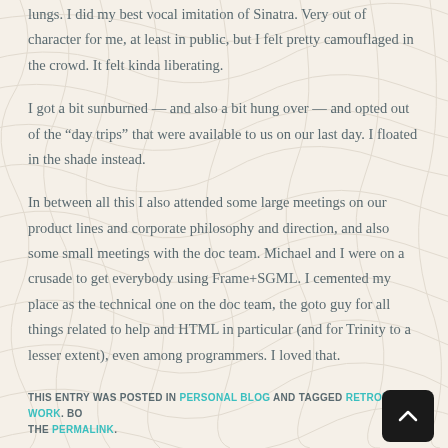lungs. I did my best vocal imitation of Sinatra. Very out of character for me, at least in public, but I felt pretty camouflaged in the crowd. It felt kinda liberating.
I got a bit sunburned — and also a bit hung over — and opted out of the “day trips” that were available to us on our last day. I floated in the shade instead.
In between all this I also attended some large meetings on our product lines and corporate philosophy and direction, and also some small meetings with the doc team. Michael and I were on a crusade to get everybody using Frame+SGML. I cemented my place as the technical one on the doc team, the goto guy for all things related to help and HTML in particular (and for Trinity to a lesser extent), even among programmers. I loved that.
THIS ENTRY WAS POSTED IN PERSONAL BLOG AND TAGGED RETROPOST, WORK. BOOKMARK THE PERMALINK.